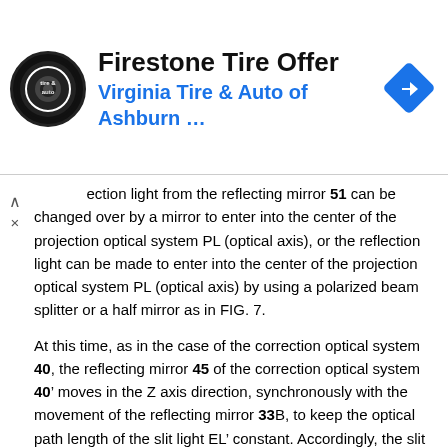[Figure (other): Advertisement banner: Firestone Tire Offer, Virginia Tire & Auto of Ashburn ..., with circular tire & auto logo and blue diamond direction arrow icon]
ection light from the reflecting mirror 51 can be changed over by a mirror to enter into the center of the projection optical system PL (optical axis), or the reflection light can be made to enter into the center of the projection optical system PL (optical axis) by using a polarized beam splitter or a half mirror as in FIG. 7.
At this time, as in the case of the correction optical system 40, the reflecting mirror 45 of the correction optical system 40' moves in the Z axis direction, synchronously with the movement of the reflecting mirror 33B, to keep the optical path length of the slit light EL' constant. Accordingly, the slit light EL' enters into the projection optical system PL via the reflecting mirror 51 with a constant optical path length at all times, so that the pattern image of the mask M is sequentially projected into the shot field SA3 on the substrate P shown in FIG. 4.
In the present embodiment, when the scanning exposure to the shot field SA3 is finished, the reflecting mirror 33C is moved to the wait position T1 before the reflecting mirror 33B arrives, and the moved reflecting mirror 33B is positioned at the position where the reflecting mirror 33C has been